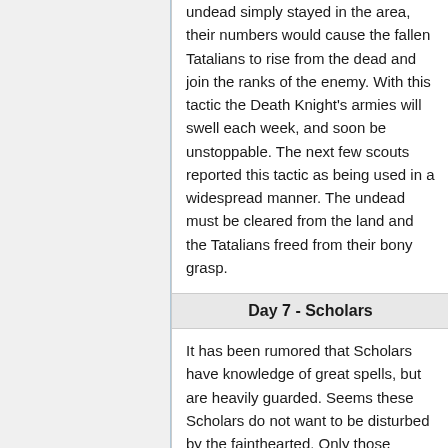undead simply stayed in the area, their numbers would cause the fallen Tatalians to rise from the dead and join the ranks of the enemy. With this tactic the Death Knight's armies will swell each week, and soon be unstoppable. The next few scouts reported this tactic as being used in a widespread manner. The undead must be cleared from the land and the Tatalians freed from their bony grasp.
Day 7 - Scholars
It has been rumored that Scholars have knowledge of great spells, but are heavily guarded. Seems these Scholars do not want to be disturbed by the fainthearted. Only those willing to destroy the Diamond Golems blocking the path will learn of the powerful spell each Scholar has.